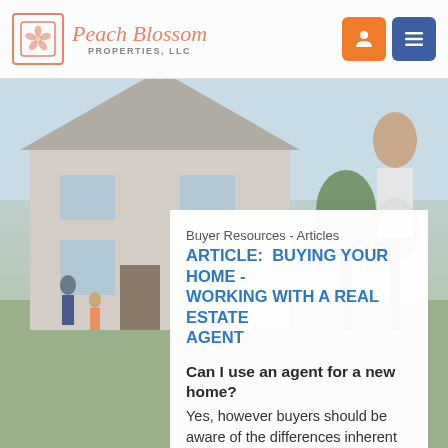[Figure (photo): Background photo of a suburban house exterior with a person standing in the foreground, and a family scene visible on the left side of the yard.]
Peach Blossom Properties, LLC
Buyer Resources - Articles
ARTICLE:  BUYING YOUR HOME - WORKING WITH A REAL ESTATE AGENT
Can I use an agent for a new home?
Yes, however buyers should be aware of the differences inherent in working with sales agents who are employed by the developer, rather than traditional real estate agents. Builders commonly require that an outside agent be present, and sign in, the first time a prospective purchaser visits a site before payment of